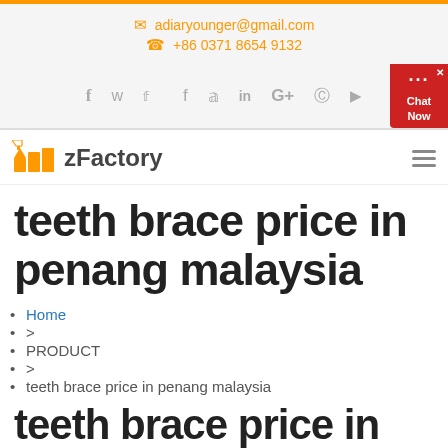adiaryounger@gmail.com  +86 0371 8654 9132
[Figure (screenshot): Social media icons: Facebook, Twitter, LinkedIn, Google+, Pinterest, YouTube; Chat Now widget on right]
[Figure (logo): zFactory logo with orange factory/building icon and text zFactory]
teeth brace price in penang malaysia
Home
>
PRODUCT
>
teeth brace price in penang malaysia
teeth brace price in penang